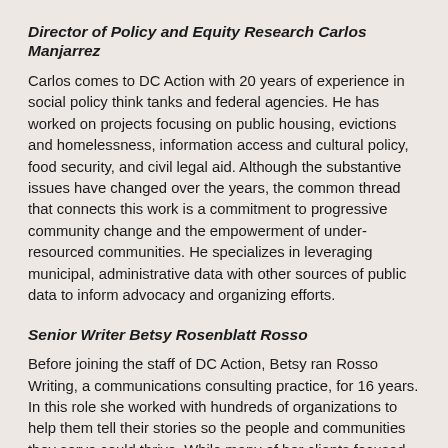Director of Policy and Equity Research Carlos Manjarrez
Carlos comes to DC Action with 20 years of experience in social policy think tanks and federal agencies. He has worked on projects focusing on public housing, evictions and homelessness, information access and cultural policy, food security, and civil legal aid. Although the substantive issues have changed over the years, the common thread that connects this work is a commitment to progressive community change and the empowerment of under-resourced communities. He specializes in leveraging municipal, administrative data with other sources of public data to inform advocacy and organizing efforts.
Senior Writer Betsy Rosenblatt Rosso
Before joining the staff of DC Action, Betsy ran Rosso Writing, a communications consulting practice, for 16 years. In this role she worked with hundreds of organizations to help them tell their stories so the people and communities they serve could thrive. While many of her clients focused on children, youth, families, and education, Betsy has also worked in the areas of the arts, health, housing, human services, military service, philanthropy, and science. Prior to launching her consulting practice, Betsy served as